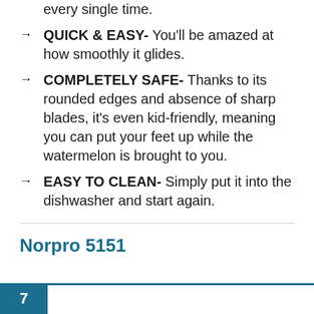every single time.
QUICK & EASY- You'll be amazed at how smoothly it glides.
COMPLETELY SAFE- Thanks to its rounded edges and absence of sharp blades, it's even kid-friendly, meaning you can put your feet up while the watermelon is brought to you.
EASY TO CLEAN- Simply put it into the dishwasher and start again.
Norpro 5151
7